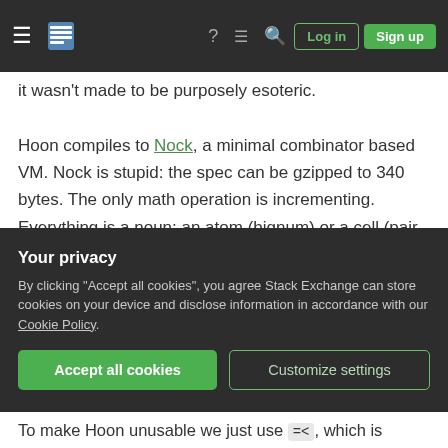Stack Exchange navigation bar with hamburger menu, logo, icons, Log in and Sign up buttons
it wasn't made to be purposely esoteric.
Hoon compiles to Nock, a minimal combinator based VM. Nock is stupid: the spec can be gzipped to 340 bytes. The only math operation is incrementing. Everything is a noun: an atom (bignum) or a cell (pair of nouns), with the entire memory model arranged in an immutable acyclic binary tree. The only output is the noun that your expression reduces to.
Because of the weird compilation target, Hoon is
Your privacy
By clicking "Accept all cookies", you agree Stack Exchange can store cookies on your device and disclose information in accordance with our Cookie Policy.
To make Hoon unusable we just use =<, which is